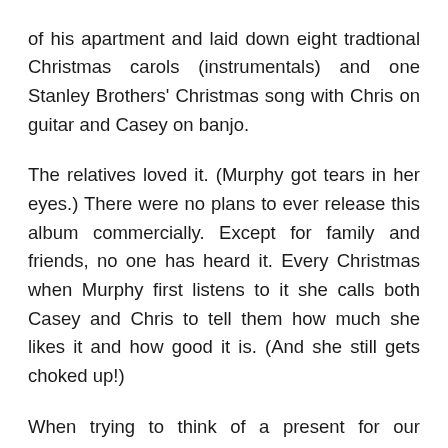of his apartment and laid down eight tradtional Christmas carols (instrumentals) and one Stanley Brothers' Christmas song with Chris on guitar and Casey on banjo.

The relatives loved it. (Murphy got tears in her eyes.) There were no plans to ever release this album commercially. Except for family and friends, no one has heard it. Every Christmas when Murphy first listens to it she calls both Casey and Chris to tell them how much she likes it and how good it is. (And she still gets choked up!)

When trying to think of a present for our customers we remembered this album. It has never been sold. The ONLY way to get this CD is as part of this free